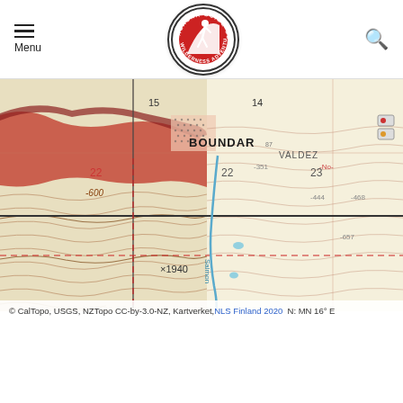Menu | Alaska Guide Co. Wilderness Adventures Logo | Search
[Figure (map): Topographic map showing Valdez area in Alaska with contour lines, BOUNDARY label in red area, section numbers (14, 15, 22, 23), elevation markers (-600, x1940, -351, -444, -468, -657), Salmon river label, and dashed red crosshair lines overlaid. Left portion shows reddish terrain with dotted/hatched pattern near water. Right portion shows pale yellow/beige terrain with brown contour lines. Blue water features visible.]
© CalTopo, USGS, NZTopo CC-by-3.0-NZ, Kartverket, NLS Finland 2020  N: MN 16° E